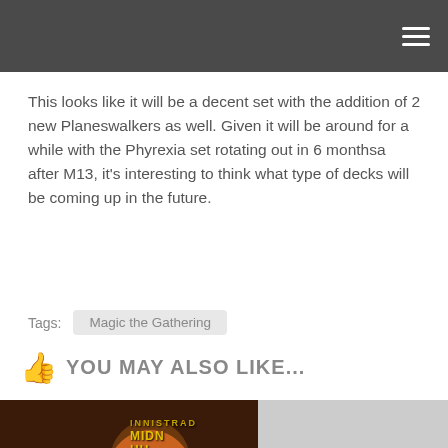This looks like it will be a decent set with the addition of 2 new Planeswalkers as well. Given it will be around for a while with the Phyrexia set rotating out in 6 monthsa after M13, it's interesting to think what type of decks will be coming up in the future.
Tags: Magic the Gathering
YOU MAY ALSO LIKE...
[Figure (photo): Card game artwork showing a wolf/werewolf creature with Innistrad Midnight Hunt text overlay and a comment badge showing 0]
[Figure (photo): Gray placeholder image with a blue comment badge showing 0]